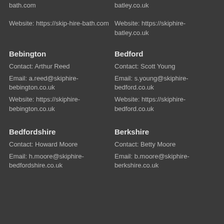Website: https://skip-hire-bath.com
Website: https://skiphire-batley.co.uk
Bebington
Bedford
Contact: Arthur Reed
Contact: Scott Young
Email: a.reed@skiphire-bebington.co.uk
Email: s.young@skiphire-bedford.co.uk
Website: https://skiphire-bebington.co.uk
Website: https://skiphire-bedford.co.uk
Bedfordshire
Berkshire
Contact: Howard Moore
Contact: Betty Moore
Email: h.moore@skiphire-bedfordshire.co.uk
Email: b.moore@skiphire-berkshire.co.uk